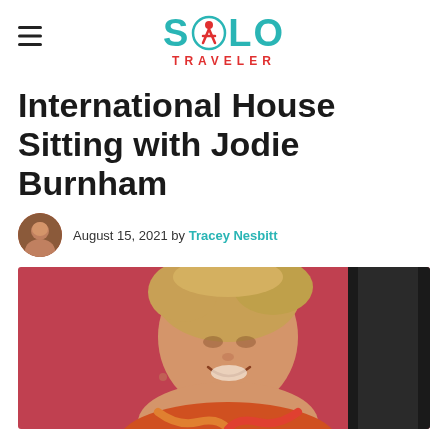Solo Traveler
International House Sitting with Jodie Burnham
August 15, 2021 by Tracey Nesbitt
[Figure (photo): Portrait photo of Jodie Burnham, a smiling woman with blonde hair, against a reddish-pink background]